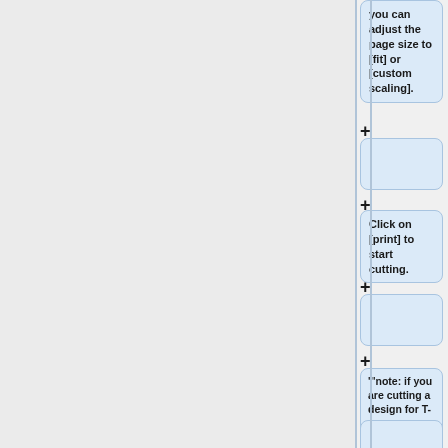you can adjust the page size to [fit] or [custom scaling].
Click on [print] to start cutting.
'''note: if you are cutting a design for T-shirts or on windows. Then cut your drawing in mirror ! '''